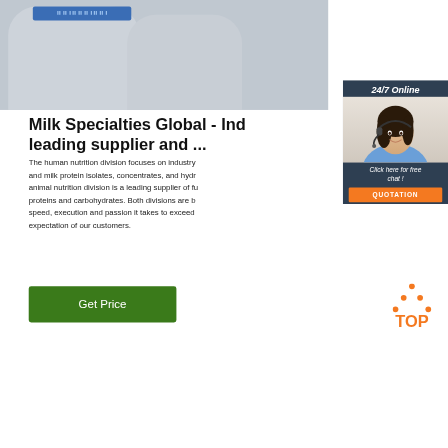[Figure (photo): Product photo showing two large grey/silver industrial containers or jugs with a blue label strip on the front, against a grey background.]
[Figure (photo): Chat widget with agent photo: woman with dark hair wearing a headset and smiling, in a blue shirt. Widget shows '24/7 Online' header, 'Click here for free chat!' text, and an orange QUOTATION button.]
Milk Specialties Global - Ind leading supplier and ...
The human nutrition division focuses on industry and milk protein isolates, concentrates, and hydr animal nutrition division is a leading supplier of fu proteins and carbohydrates. Both divisions are b speed, execution and passion it takes to exceed expectation of our customers.
[Figure (other): Green 'Get Price' button]
[Figure (logo): Orange 'TOP' logo with dotted triangle above the text]